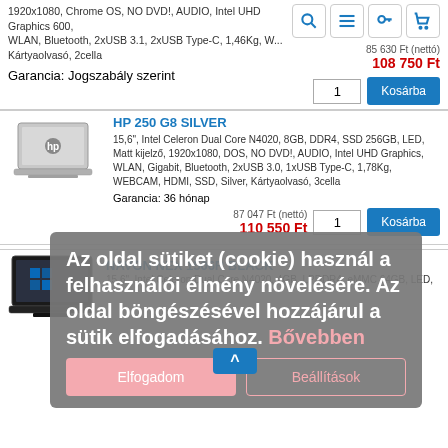1920x1080, Chrome OS, NO DVD!, AUDIO, Intel UHD Graphics 600, WLAN, Bluetooth, 2xUSB 3.1, 2xUSB Type-C, 1,46Kg, W... Kártyaolvasó, 2cella
Garancia: Jogszabály szerint
85 630 Ft (nettó)
108 750 Ft
[Figure (screenshot): Laptop product image - HP 250 G8 Silver, silver colored laptop lid]
HP 250 G8 SILVER
15,6", Intel Celeron Dual Core N4020, 8GB, DDR4, SSD 256GB, LED, Matt kijelző, 1920x1080, DOS, NO DVD!, AUDIO, Intel UHD Graphics, WLAN, Gigabit, Bluetooth, 2xUSB 3.0, 1xUSB Type-C, 1,78Kg, WEBCAM, HDMI, SSD, Silver, Kártyaolvasó, 3cella
Garancia: 36 hónap
87 047 Ft (nettó)
110 550 Ft
Az oldal sütiket (cookie) használ a felhasználói élmény növelésére. Az oldal böngészésével hozzájárul a sütik elfogadásához. Bővebben
Elfogadom
Beállítások
[Figure (screenshot): Laptop product image - Navon Nex 1506R Black, black laptop with Windows screen]
NAVON NEX 1506R BLACK
15,6", Intel Celeron Dual Core N4020, 4GB, LPDDR4, eMMC 64GB, LED,